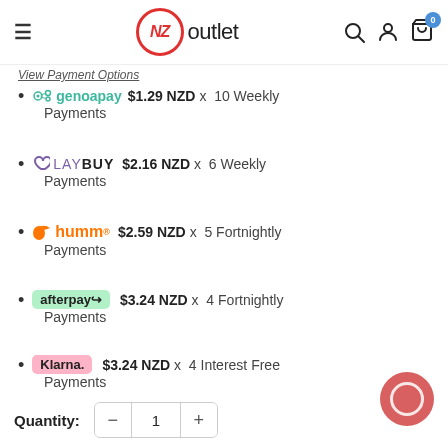[Figure (logo): NZ Outlet logo with hamburger menu, search, account, and cart icons in header]
View Payment Options
genoapay $1.29 NZD x 10 Weekly Payments
LAYBUY $2.16 NZD x 6 Weekly Payments
humm $2.59 NZD x 5 Fortnightly Payments
afterpay $3.24 NZD x 4 Fortnightly Payments
Klarna. $3.24 NZD x 4 Interest Free Payments
Quantity: 1